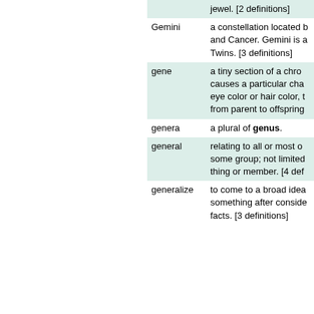| Term | Definition |
| --- | --- |
|  | jewel. [2 definitions] |
| Gemini | a constellation located b… and Cancer. Gemini is a… Twins. [3 definitions] |
| gene | a tiny section of a chro… causes a particular cha… eye color or hair color, t… from parent to offspring |
| genera | a plural of genus. |
| general | relating to all or most o… some group; not limited… thing or member. [4 def |
| generalize | to come to a broad idea… something after conside… facts. [3 definitions] |
<<Prev